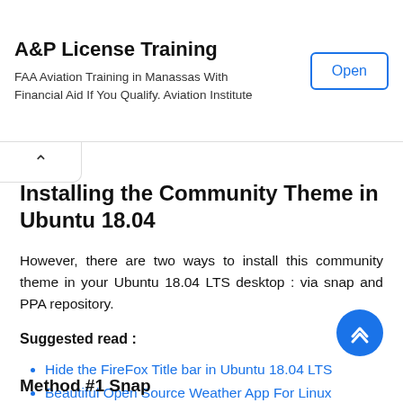A&P License Training
FAA Aviation Training in Manassas With Financial Aid If You Qualify. Aviation Institute
Installing the Community Theme in Ubuntu 18.04
However, there are two ways to install this community theme in your Ubuntu 18.04 LTS desktop : via snap and PPA repository.
Suggested read :
Hide the FireFox Title bar in Ubuntu 18.04 LTS
Beautiful Open Source Weather App For Linux
Method #1 Snap